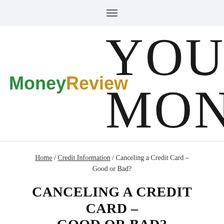≡ (navigation menu icon)
[Figure (logo): MoneyReview logo with 'Money' in green and 'Review' in gold/amber, alongside large partially-visible display text 'YOUR MONEY REVIEW']
Home / Credit Information / Canceling a Credit Card – Good or Bad?
CANCELING A CREDIT CARD – GOOD OR BAD?